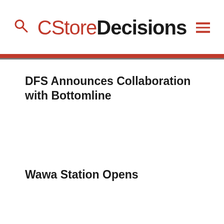CStoreDecisions
DFS Announces Collaboration with Bottomline
Wawa Station Opens